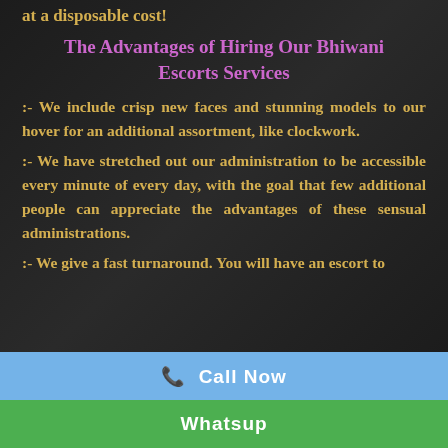at a disposable cost!
The Advantages of Hiring Our Bhiwani Escorts Services
:- We include crisp new faces and stunning models to our hover for an additional assortment, like clockwork.
:- We have stretched out our administration to be accessible every minute of every day, with the goal that few additional people can appreciate the advantages of these sensual administrations.
:- We give a fast turnaround. You will have an escort to
📞  Call Now
Whatsup